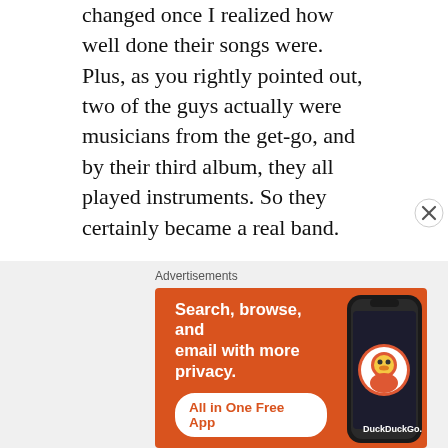changed once I realized how well done their songs were. Plus, as you rightly pointed out, two of the guys actually were musicians from the get-go, and by their third album, they all played instruments. So they certainly became a real band.
Taking a quick glance at Wikipedia's article about Nesmith, I see he has a pretty impressive discography outside The Monkees – I had no idea!
[Figure (other): DuckDuckGo advertisement banner: orange background with white bold text 'Search, browse, and email with more privacy.' and a white rounded button 'All in One Free App', with a smartphone image showing the DuckDuckGo logo on the right side.]